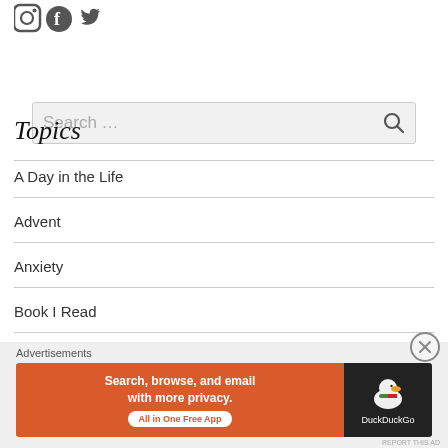[Figure (illustration): Social media icons: Instagram, Facebook, Twitter in gray]
[Figure (screenshot): Search input box with placeholder text 'Search ...' and magnifying glass icon]
Topics
A Day in the Life
Advent
Anxiety
Book I Read
Christmas
Christmas Gift Guide
[Figure (infographic): DuckDuckGo advertisement banner: orange section with text 'Search, browse, and email with more privacy. All in One Free App' and dark section with DuckDuckGo duck logo and name]